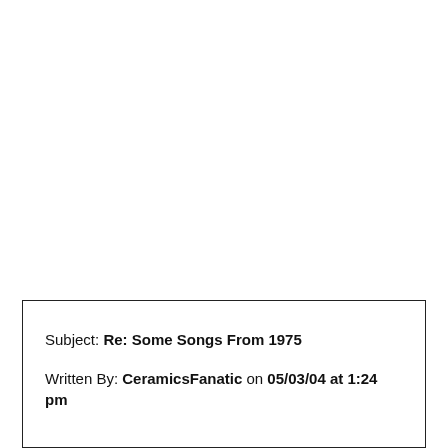Subject: Re: Some Songs From 1975
Written By: CeramicsFanatic on 05/03/04 at 1:24 pm